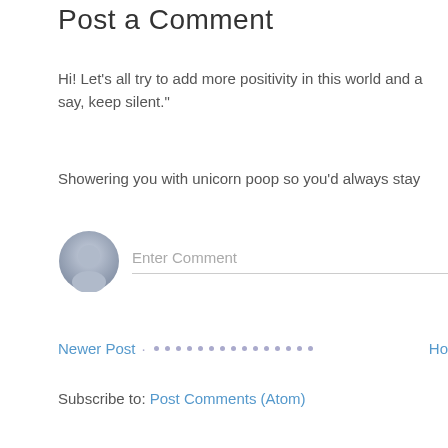Post a Comment
Hi! Let's all try to add more positivity in this world and a... say, keep silent."
Showering you with unicorn poop so you'd always stay...
Enter Comment
Newer Post · · · · · · · · · · · · · · · Ho
Subscribe to: Post Comments (Atom)